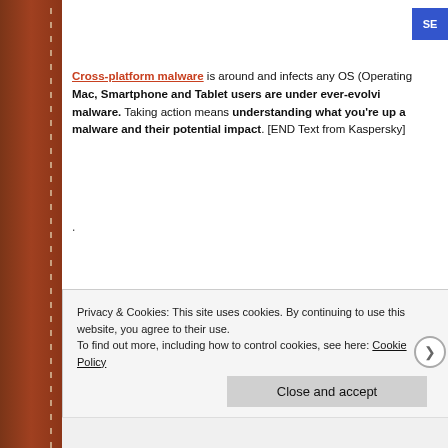[Figure (screenshot): Brown leather sidebar with stitching pattern on the left edge of the page]
Cross-platform malware is around and infects any OS (Operating... Mac, Smartphone and Tablet users are under ever-evolvi... malware. Taking action means understanding what you're up a... malware and their potential impact. [END Text from Kaspersky]
.
Learn more:
Privacy & Cookies: This site uses cookies. By continuing to use this website, you agree to their use.
To find out more, including how to control cookies, see here: Cookie Policy
Close and accept